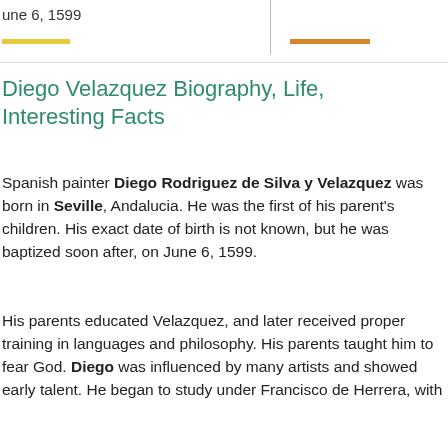une 6, 1599
Diego Velazquez Biography, Life, Interesting Facts
Spanish painter Diego Rodriguez de Silva y Velazquez was born in Seville, Andalucia. He was the first of his parent's children. His exact date of birth is not known, but he was baptized soon after, on June 6, 1599.
His parents educated Velazquez, and later received proper training in languages and philosophy. His parents taught him to fear God. Diego was influenced by many artists and showed early talent. He began to study under Francisco de Herrera, with